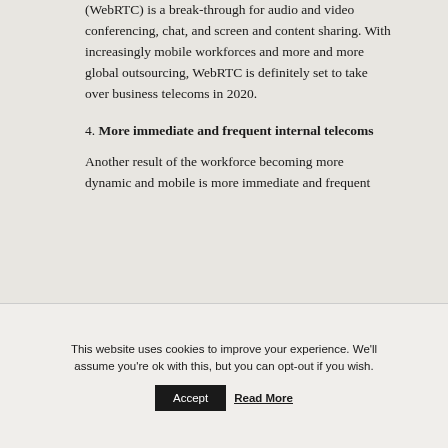(WebRTC) is a break-through for audio and video conferencing, chat, and screen and content sharing. With increasingly mobile workforces and more and more global outsourcing, WebRTC is definitely set to take over business telecoms in 2020.
4. More immediate and frequent internal telecoms
Another result of the workforce becoming more dynamic and mobile is more immediate and frequent
This website uses cookies to improve your experience. We'll assume you're ok with this, but you can opt-out if you wish.
Accept  Read More